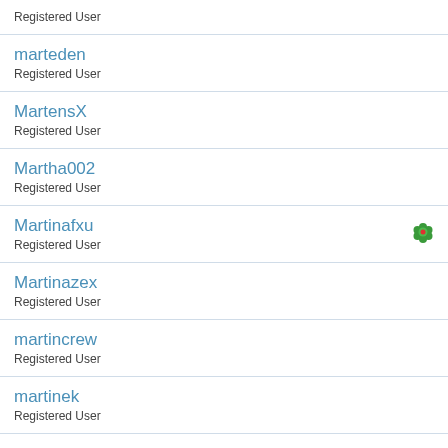Registered User
marteden
Registered User
MartensX
Registered User
Martha002
Registered User
Martinafxu
Registered User
Martinazex
Registered User
martincrew
Registered User
martinek
Registered User